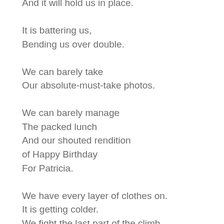And it will hold us in place.

It is battering us,
Bending us over double.

We can barely take
Our absolute-must-take photos.

We can barely manage
The packed lunch
And our shouted rendition
of Happy Birthday
For Patricia.

We have every layer of clothes on.
It is getting colder.
We fight the last part of the climb
With all of our strength,
Struggling to get over the pinnacle,
Struggling to stand